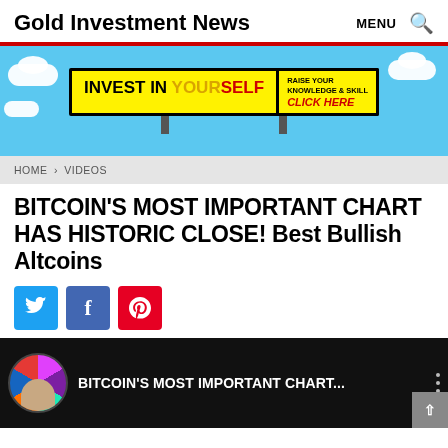Gold Investment News   MENU 🔍
[Figure (infographic): Advertisement banner with sky blue background showing a billboard. Billboard reads 'INVEST IN YOURSELF' in black/yellow box, with 'RAISE YOUR KNOWLEDGE & SKILL CLICK HERE' in red italic text on yellow background.]
HOME > VIDEOS
BITCOIN'S MOST IMPORTANT CHART HAS HISTORIC CLOSE! Best Bullish Altcoins
[Figure (infographic): Social share buttons: Twitter (blue), Facebook (dark blue), Pinterest (red)]
[Figure (screenshot): Video thumbnail with black background, circular avatar with colorful design on left, text 'BITCOIN'S MOST IMPORTANT CHART...' in white, three-dot menu on right, scroll-up arrow button at bottom right.]